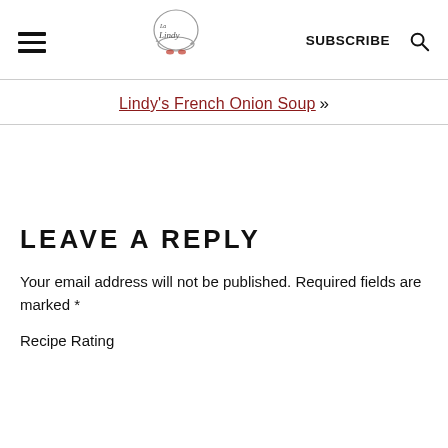La Lindy — SUBSCRIBE [search icon]
Lindy's French Onion Soup »
LEAVE A REPLY
Your email address will not be published. Required fields are marked *
Recipe Rating